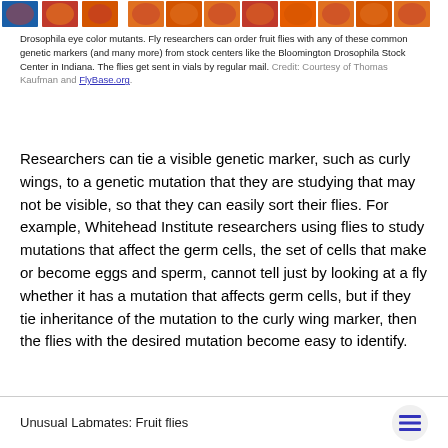[Figure (photo): Strip of Drosophila eye color mutant images showing various colored fly eyes (orange, red, blue) across the top of the page]
Drosophila eye color mutants. Fly researchers can order fruit flies with any of these common genetic markers (and many more) from stock centers like the Bloomington Drosophila Stock Center in Indiana. The flies get sent in vials by regular mail. Credit: Courtesy of Thomas Kaufman and FlyBase.org.
Researchers can tie a visible genetic marker, such as curly wings, to a genetic mutation that they are studying that may not be visible, so that they can easily sort their flies. For example, Whitehead Institute researchers using flies to study mutations that affect the germ cells, the set of cells that make or become eggs and sperm, cannot tell just by looking at a fly whether it has a mutation that affects germ cells, but if they tie inheritance of the mutation to the curly wing marker, then the flies with the desired mutation become easy to identify.
Unusual Labmates: Fruit flies